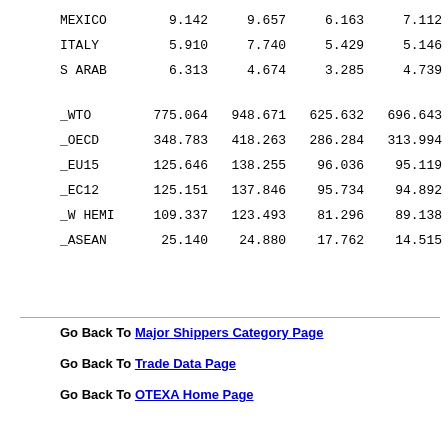| MEXICO | 9.142 | 9.657 | 6.163 | 7.112 |
| ITALY | 5.910 | 7.740 | 5.429 | 5.146 |
| S ARAB | 6.313 | 4.674 | 3.285 | 4.739 |
| _WTO | 775.064 | 948.671 | 625.632 | 696.643 |
| _OECD | 348.783 | 418.263 | 286.284 | 313.994 |
| _EU15 | 125.646 | 138.255 | 96.036 | 95.119 |
| _EC12 | 125.151 | 137.846 | 95.734 | 94.892 |
| _W HEMI | 109.337 | 123.493 | 81.296 | 89.138 |
| _ASEAN | 25.140 | 24.880 | 17.762 | 14.515 |
Go Back To Major Shippers Category Page
Go Back To Trade Data Page
Go Back To OTEXA Home Page